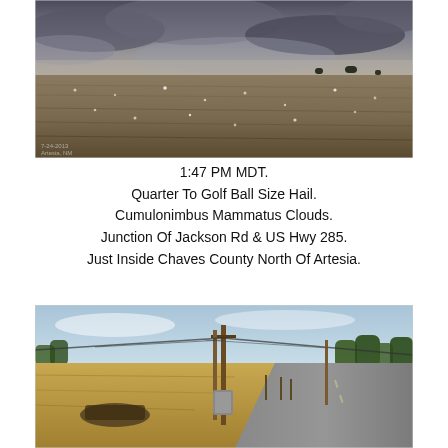[Figure (photo): Aerial/ground-level view of a flat agricultural field under a dramatic dark cloudy sky. The field appears to have scattered white spots possibly hail. Small structures visible on the horizon.]
1:47 PM MDT.
Quarter To Golf Ball Size Hail.
Cumulonimbus Mammatus Clouds.
Junction Of Jackson Rd & US Hwy 285.
Just Inside Chaves County North Of Artesia.
[Figure (photo): Ground-level photo of a rural road intersection in a flat, dry landscape. Utility poles and electrical equipment visible in the center, a paved road extends to the right, trees visible in the background, dry grass and sparse vegetation in the foreground.]